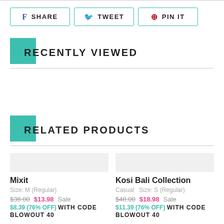[Figure (other): Social share buttons row: Facebook SHARE, Twitter TWEET, Pinterest PIN IT]
RECENTLY VIEWED
RELATED PRODUCTS
[Figure (other): Product image placeholder for Mixit]
Mixit
Size: M (Regular)
$36.00  $13.98 Sale
$8.39 (76% OFF) WITH CODE BLOWOUT 40
[Figure (other): Product image placeholder for Kosi Bali Collection]
Kosi Bali Collection
Casual   Size: S (Regular)
$48.00  $18.98 Sale
$11.39 (76% OFF) WITH CODE BLOWOUT 40